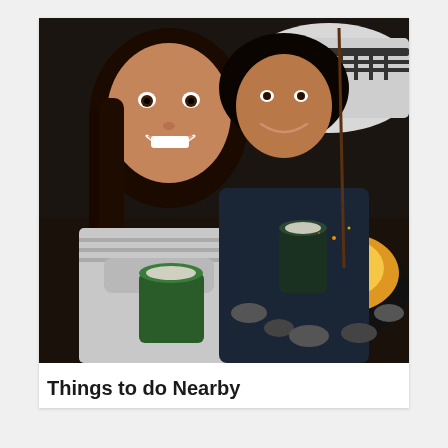[Figure (photo): Two people smiling and holding green insulated mugs near an outdoor fire pit with snow visible in the background. The woman in the foreground has long dark hair and is wearing a light grey top. The man behind her is wearing a dark blue jacket. The fire is glowing orange in the background.]
Things to do Nearby